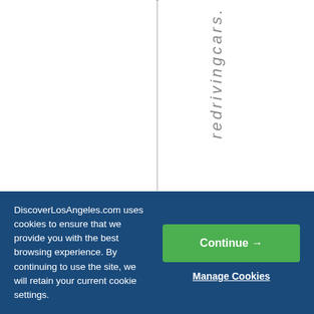[Figure (screenshot): White page background with a vertical dotted line at center-left and vertically oriented italic gray text reading 'redrivingcars. R' running top to bottom on the right half of the upper portion of the page.]
DiscoverLosAngeles.com uses cookies to ensure that we provide you with the best browsing experience. By continuing to use the site, we will retain your current cookie settings.
Continue →
Manage Cookies